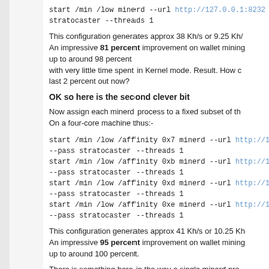start /min /low minerd --url http://127.0.0.1:8232 --user s stratocaster --threads 1
This configuration generates approx 38 Kh/s or 9.25 Kh/ An impressive 81 percent improvement on wallet mining up to around 98 percent with very little time spent in Kernel mode. Result. How c last 2 percent out now?
OK so here is the second clever bit
Now assign each minerd process to a fixed subset of th On a four-core machine thus:-
start /min /low /affinity 0x7 minerd --url http://127.0.0.1:8 --pass stratocaster --threads 1
start /min /low /affinity 0xb minerd --url http://127.0.0.1:8 --pass stratocaster --threads 1
start /min /low /affinity 0xd minerd --url http://127.0.0.1:8 --pass stratocaster --threads 1
start /min /low /affinity 0xe minerd --url http://127.0.0.1:8 --pass stratocaster --threads 1
This configuration generates approx 41 Kh/s or 10.25 Kh An impressive 95 percent improvement on wallet mining up to around 100 percent.
There is something here in the way a single minerd pro multiple threads using this M7M algo. Multiple threads